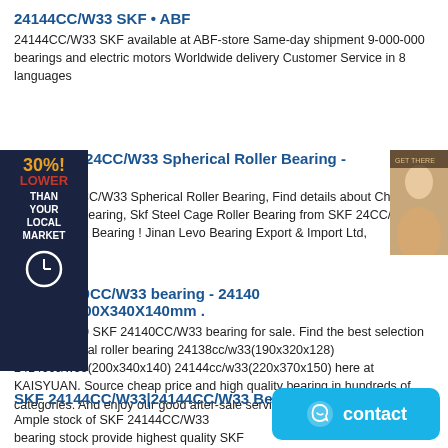24144CC/W33 SKF • ABF
24144CC/W33 SKF available at ABF-store Same-day shipment 9-000-000 bearings and electric motors Worldwide delivery Customer Service in 8 languages
[Figure (infographic): Red and dark blue advertisement overlay showing '30%! LOWER THAN YOUR LOCAL MARKET' with a clock icon]
[Figure (photo): Small thumbnail photo of a person]
ina SKF 23024CC/W33 Spherical Roller Bearing - China SK
na SKF 23024CC/W33 Spherical Roller Bearing, Find details about China 23024cc/W33 Bearing, Skf Steel Cage Roller Bearing from SKF 24CC/W33 Spherical Roller Bearing ! Jinan Levo Bearing Export & Import Ltd,
SKF 24140CC/W33 bearing - 24140 CC/W33,200X340X140mm .
200x340x140 SKF 24140CC/W33 bearing for sale. Find the best selection of skf spherical roller bearing 24138cc/w33(190x320x128) 24140cc/w33(200x340x140) 24144cc/w33(220x370x150) here at KAISYUAN. Source cheap price and high quality bearing in hundreds of categories. And enjoy our good after-sale services and timely delivery.
SKF 24144CC/W33|24144CC/W33 Bearings bearings
Ample stock of SKF 24144CC/W33 bearing stock provide highest quality SKF 24144CC/W33 super precision bearing manufacturer of SKF 24144CC/W33 super precision bearings we can give you
[Figure (infographic): Teal contact button with chat icon and text 'contact']